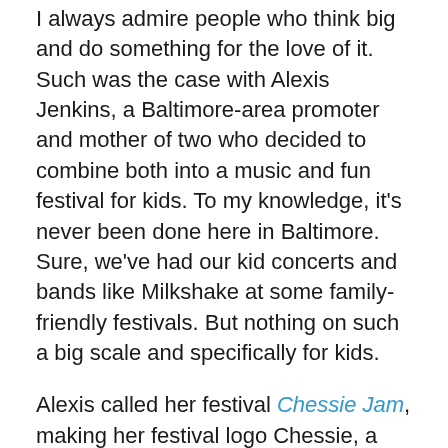I always admire people who think big and do something for the love of it. Such was the case with Alexis Jenkins, a Baltimore-area promoter and mother of two who decided to combine both into a music and fun festival for kids. To my knowledge, it's never been done here in Baltimore. Sure, we've had our kid concerts and bands like Milkshake at some family-friendly festivals. But nothing on such a big scale and specifically for kids.
Alexis called her festival Chessie Jam, making her festival logo Chessie, a yellow sea monster. Legend goes that Chessie was/is a sea monster swimming in the Chesapeake Bay. This Chessie was kind and loved kids of course, and Alexis brought Chessie to life for the Jam, hiring a mascot dressed as Chessie to dance and play with the kids. She also hired the Oriole Bird, since all of Baltimore had orange fever at the time, our beloved O's